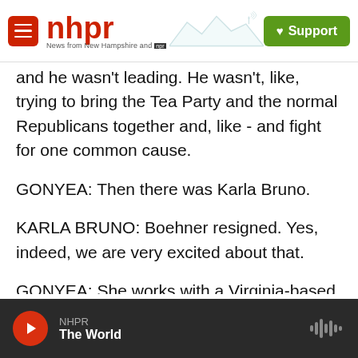nhpr — News from New Hampshire and NPR | Support
and he wasn't leading. He wasn't, like, trying to bring the Tea Party and the normal Republicans together and, like - and fight for one common cause.
GONYEA: Then there was Karla Bruno.
KARLA BRUNO: Boehner resigned. Yes, indeed, we are very excited about that.
GONYEA: She works with a Virginia-based conservative organization, the Leadership Institute.
NHPR — The World